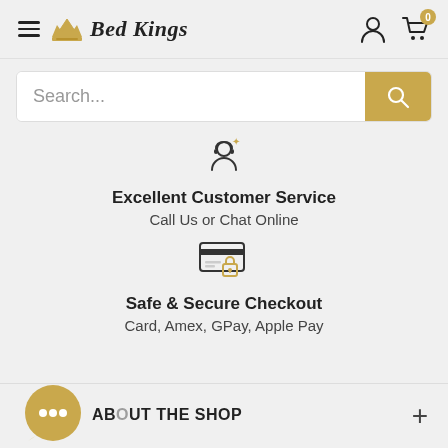[Figure (screenshot): Bed Kings website header with hamburger menu, crown logo, brand name, user icon, and cart icon with 0 badge]
[Figure (screenshot): Search bar with placeholder text 'Search...' and golden search button]
[Figure (illustration): Customer service icon - person/headset silhouette]
Excellent Customer Service
Call Us or Chat Online
[Figure (illustration): Secure checkout icon - credit card with padlock]
Safe & Secure Checkout
Card, Amex, GPay, Apple Pay
[Figure (illustration): Chat bubble icon in gold/tan color]
ABOUT THE SHOP
+